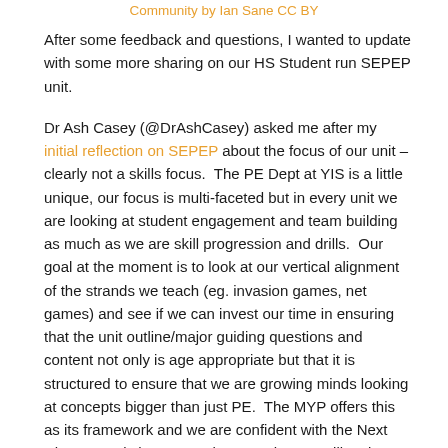Community by Ian Sane CC BY
After some feedback and questions, I wanted to update with some more sharing on our HS Student run SEPEP unit.
Dr Ash Casey (@DrAshCasey) asked me after my initial reflection on SEPEP about the focus of our unit – clearly not a skills focus.  The PE Dept at YIS is a little unique, our focus is multi-faceted but in every unit we are looking at student engagement and team building as much as we are skill progression and drills.  Our goal at the moment is to look at our vertical alignment of the strands we teach (eg. invasion games, net games) and see if we can invest our time in ensuring that the unit outline/major guiding questions and content not only is age appropriate but that it is structured to ensure that we are growing minds looking at concepts bigger than just PE.  The MYP offers this as its framework and we are confident with the Next Chapter and changes to the MYP that we will make our PE program bigger and stronger with time.  You can see what